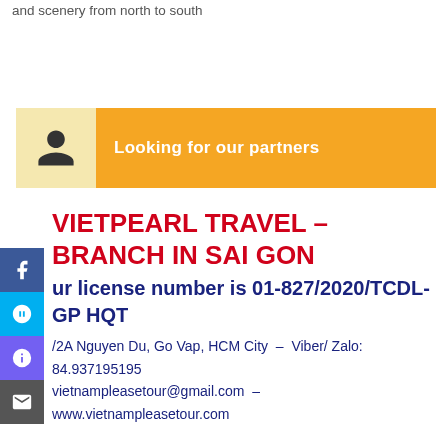and scenery from north to south
[Figure (infographic): Orange and yellow banner with a person/user icon on yellow background and text 'Looking for our partners' on orange background]
VIETPEARL TRAVEL – BRANCH IN SAIGON
Our license number is 01-827/2020/TCDL-GPLHQT
/2A Nguyen Du, Go Vap, HCM City – Viber/ Zalo: 84.937195195  vietnampleasetour@gmail.com – www.vietnampleasetour.com